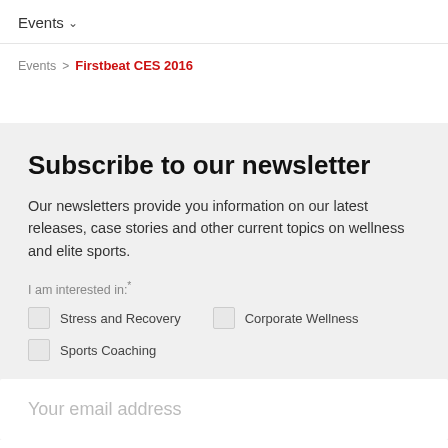Events ∨
Events > Firstbeat CES 2016
Subscribe to our newsletter
Our newsletters provide you information on our latest releases, case stories and other current topics on wellness and elite sports.
I am interested in:*
Stress and Recovery
Corporate Wellness
Sports Coaching
Your email address